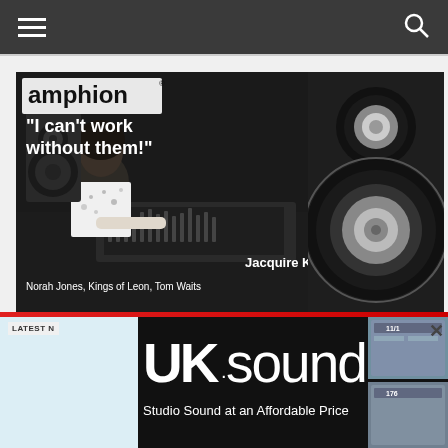Navigation bar with hamburger menu and search icon
[Figure (photo): Amphion studio monitor advertisement featuring Jacquire King. Shows a man working at a recording console with studio speakers visible. Text: 'I can't work without them!' Jacquire King – Norah Jones, Kings of Leon, Tom Waits]
[Figure (photo): UK Sound advertisement banner. Text: 'UKsound – Studio Sound at an Affordable Price' on black background with audio equipment thumbnails on the right]